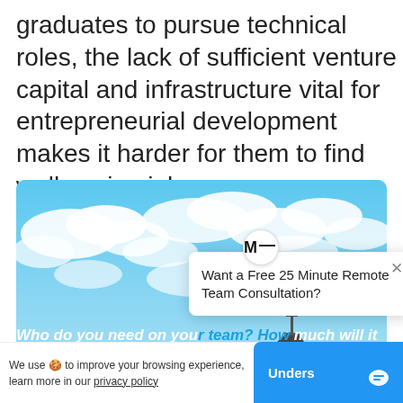graduates to pursue technical roles, the lack of sufficient venture capital and infrastructure vital for entrepreneurial development makes it harder for them to find well paying jobs.
[Figure (photo): Blue sky with clouds and a silhouette of a tall antenna or tower structure in the lower right portion of the image.]
Who do you need on you much will it cost? Get an [consultation]
[Figure (other): Chat popup widget with M logo icon, close X button, and text: Want a Free 25 Minute Remote Team Consultation?]
We use 🍪 to improve your browsing experience, learn more in our privacy policy
Understood